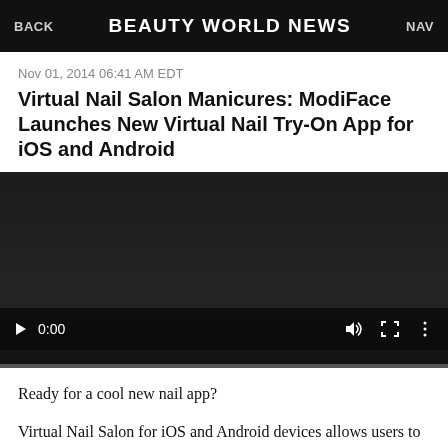BACK  BEAUTY WORLD NEWS  NAV
Nov 01, 2014 06:41 AM EDT
Virtual Nail Salon Manicures: ModiFace Launches New Virtual Nail Try-On App for iOS and Android
[Figure (screenshot): Embedded video player showing a dark/black screen with playback controls: play button, time display 0:00, volume icon, fullscreen icon, and menu icon. A progress bar appears at the bottom.]
Ready for a cool new nail app?
Virtual Nail Salon for iOS and Android devices allows users to upload a photo of their hand and virtually try on nail polish shades from actual